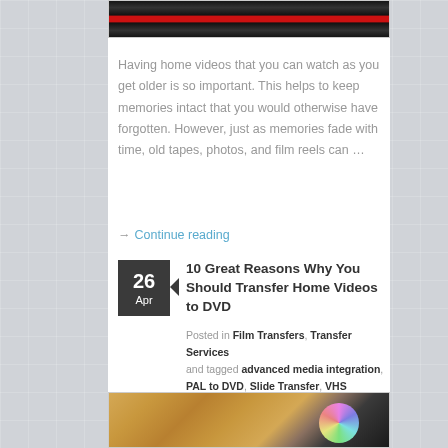[Figure (photo): VHS tape close-up showing red tape inside cassette]
Having home videos that you can watch as you get older is so important. This helps to keep memories intact that you would otherwise have forgotten. However, just as memories fade with time, old tapes, photos, and film reels can …
→ Continue reading
26 Apr
10 Great Reasons Why You Should Transfer Home Videos to DVD
Posted in Film Transfers, Transfer Services and tagged advanced media integration, PAL to DVD, Slide Transfer, VHS Trasnfer, Video Copy | Leave a Comment
[Figure (photo): VHS cassette tape next to vinyl record and DVD disc on wooden surface]